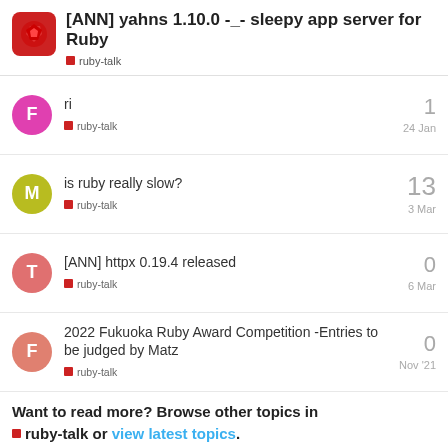[ANN] yahns 1.10.0 -_- sleepy app server for Ruby
ruby-talk
ri | ruby-talk | 1 | 24 Jan
is ruby really slow? | ruby-talk | 13 | 3 Mar
[ANN] httpx 0.19.4 released | ruby-talk | 0 | 6 Mar
2022 Fukuoka Ruby Award Competition -Entries to be judged by Matz | ruby-talk | 0 | Nov '21
Want to read more? Browse other topics in ruby-talk or view latest topics.